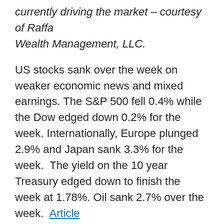currently driving the market – courtesy of Raffa Wealth Management, LLC.
US stocks sank over the week on weaker economic news and mixed earnings. The S&P 500 fell 0.4% while the Dow edged down 0.2% for the week. Internationally, Europe plunged 2.9% and Japan sank 3.3% for the week. The yield on the 10 year Treasury edged down to finish the week at 1.78%. Oil sank 2.7% over the week. Article
The pace of hiring eased in April with 160,000 new jobs added well short of expectations. The unemployment rate held at 5%, but labor force participation fell. Average earnings rose 2.5% from a year earlier one of the best increases of the current economic expansion. Article
US manufacturing activity declined, but for a second straight month was in expansion territory.